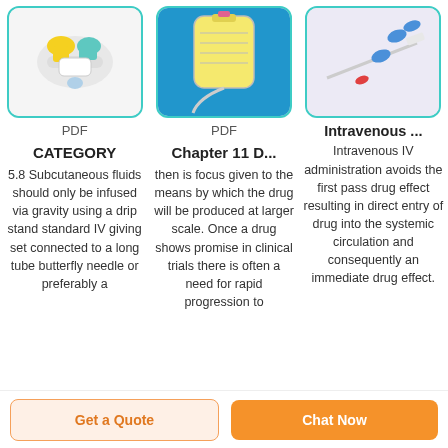[Figure (photo): Medical device - stopcock/valve connector with yellow and teal caps on white background]
[Figure (photo): IV infusion bag with tubing on blue background]
[Figure (photo): Needles and connectors - blue and red tips on light purple background]
PDF
PDF
Intravenous ...
CATEGORY
Chapter 11 D...
Intravenous IV administration avoids the first pass drug effect resulting in direct entry of drug into the systemic circulation and consequently an immediate drug effect.
5.8 Subcutaneous fluids should only be infused via gravity using a drip stand standard IV giving set connected to a long tube butterfly needle or preferably a
then is focus given to the means by which the drug will be produced at larger scale. Once a drug shows promise in clinical trials there is often a need for rapid progression to
Get a Quote
Chat Now